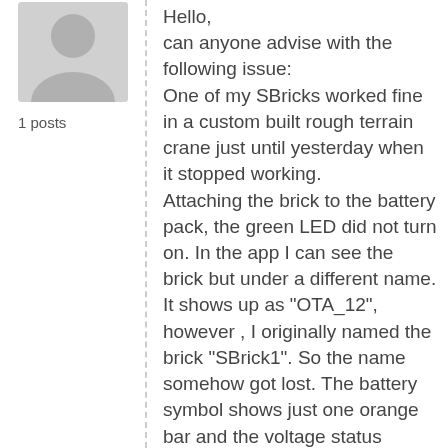[Figure (illustration): Default user avatar silhouette in gray]
1 posts
Hello,
can anyone advise with the following issue:
One of my SBricks worked fine in a custom built rough terrain crane just until yesterday when it stopped working.
Attaching the brick to the battery pack, the green LED did not turn on. In the app I can see the brick but under a different name. It shows up as "OTA_12", however , I originally named the brick "SBrick1". So the name somehow got lost. The battery symbol shows just one orange bar and the voltage status reports "0.00 Volt".
I did verify the battery pack with another brick, the battery pack is completely